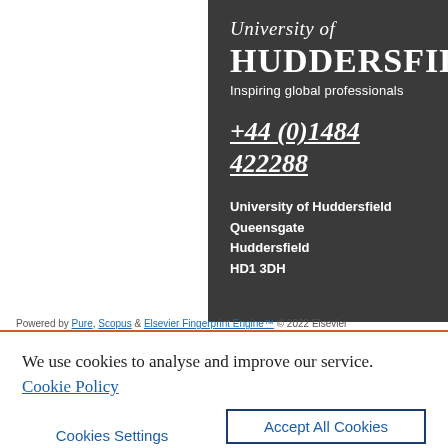[Figure (logo): University of Huddersfield logo and contact information on dark grey background panel]
Powered by Pure, Scopus & Elsevier Fingerprint Engine™ © 2022 Elsevier
We use cookies to analyse and improve our service. Cookie Policy
Cookies Settings
Accept All Cookies